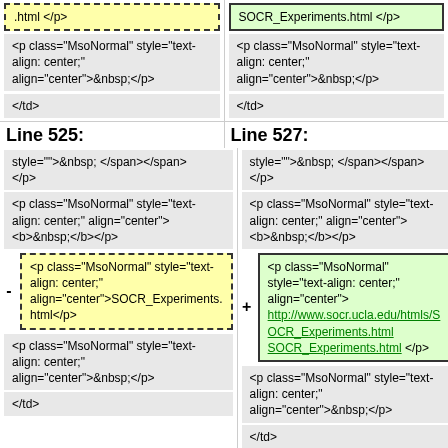Left top col: .html </p> [yellow dotted box]
Right top col: SOCR_Experiments.html </p> [green solid box]
<p class="MsoNormal" style="text-align: center;" align="center">&nbsp;</p>
</td>
Line 525:
Line 527:
style="">&nbsp; </span></span>
</p>
<p class="MsoNormal" style="text-align: center;" align="center">
<b>&nbsp;</b></p>
[minus] <p class="MsoNormal" style="text-align: center;" align="center">SOCR_Experiments.html</p> [yellow dotted]
[plus] <p class="MsoNormal" style="text-align: center;" align="center">http://www.socr.ucla.edu/htmls/SOCR_Experiments.html SOCR_Experiments.html</p> [green solid]
<p class="MsoNormal" style="text-align: center;" align="center">&nbsp;</p>
</td>
Line 558:
Line 560:
the list.<span style="">&nbsp; </span></span></p>
<p class="MsoNormal" style="text-align: center;" align="center">